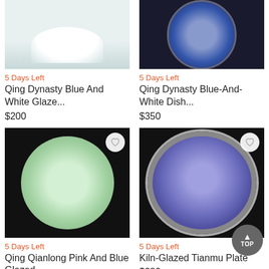[Figure (photo): Qing Dynasty Blue And White Glazed porcelain bowl, light celadon color, top-down view on light background]
5 Days Left
Qing Dynasty Blue And White Glaze...
$200
[Figure (photo): Qing Dynasty Blue-And-White Dish with dragon motif, dark background]
5 Days Left
Qing Dynasty Blue-And-White Dish...
$350
[Figure (photo): Qing Qianlong Pink And Blue Glazed celadon plate, round, on black background with heart/favorite icon]
5 Days Left
Qing Qianlong Pink And Blue Glazed...
$2,400
[Figure (photo): Kiln-Glazed Tianmu Plate, purple-blue glaze, circular dish on black background with heart/favorite icon]
5 Days Left
Kiln-Glazed Tianmu Plate
$280